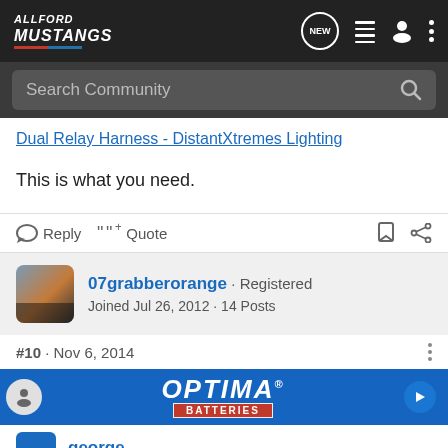AllFord Mustangs — navigation bar with search
Dual Relay Harness - DistantXtremes Lighting
This is what you need.
Reply  Quote
07grabberorange · Registered
Joined Jul 26, 2012 · 14 Posts
#10 · Nov 6, 2014
[Figure (screenshot): Optima Batteries advertisement banner]
george